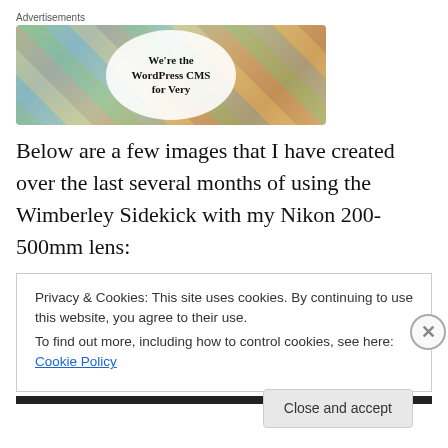[Figure (infographic): Advertisement banner showing colorful mosaic background with social media logos and text 'We're the WordPress CMS for Very' in an oval in the center]
Below are a few images that I have created over the last several months of using the Wimberley Sidekick with my Nikon 200-500mm lens:
Privacy & Cookies: This site uses cookies. By continuing to use this website, you agree to their use.
To find out more, including how to control cookies, see here: Cookie Policy